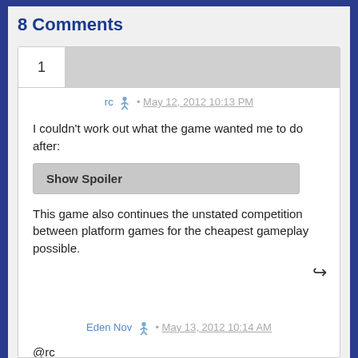8 Comments
rc • May 12, 2012 10:13 PM
I couldn't work out what the game wanted me to do after:
Show Spoiler
This game also continues the unstated competition between platform games for the cheapest gameplay possible.
Eden Nov • May 13, 2012 10:14 AM
@rc